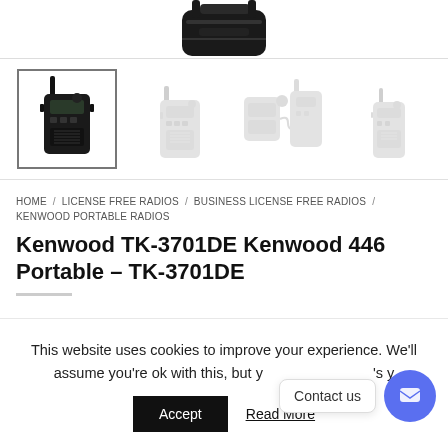[Figure (photo): Top portion of a Kenwood TK-3701DE portable radio, cropped at top of page]
[Figure (photo): Row of four product thumbnail images: first (selected/highlighted) shows black Kenwood TK-3701DE radio; second shows light grey radio front view; third shows radio with speaker microphone accessory; fourth shows another grey radio side view]
HOME / LICENSE FREE RADIOS / BUSINESS LICENSE FREE RADIOS / KENWOOD PORTABLE RADIOS
Kenwood TK-3701DE Kenwood 446 Portable – TK-3701DE
This website uses cookies to improve your experience. We'll assume you're ok with this, but y  's y
Accept
Read More
Contact us